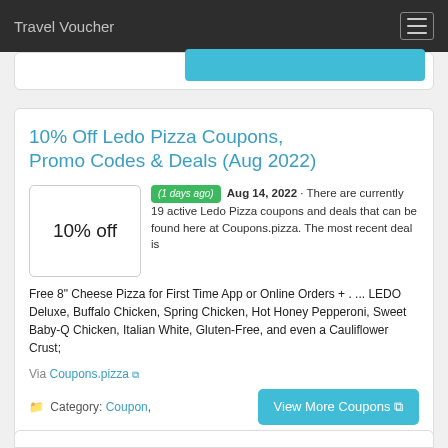Travel Voucher
10% Off Ledo Pizza Coupons, Promo Codes & Deals (Aug 2022)
(1 days ago) Aug 14, 2022 · There are currently 19 active Ledo Pizza coupons and deals that can be found here at Coupons.pizza. The most recent deal is Free 8" Cheese Pizza for First Time App or Online Orders + . ... LEDO Deluxe, Buffalo Chicken, Spring Chicken, Hot Honey Pepperoni, Sweet Baby-Q Chicken, Italian White, Gluten-Free, and even a Cauliflower Crust;
Via Coupons.pizza
Category: Coupon,